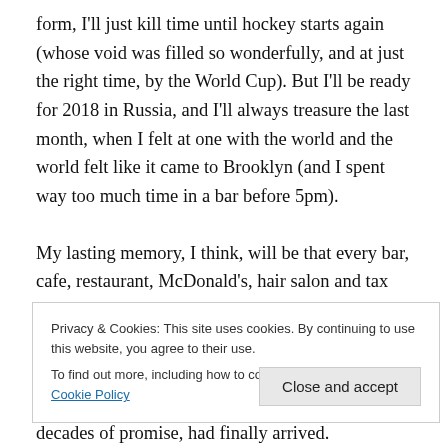form, I'll just kill time until hockey starts again (whose void was filled so wonderfully, and at just the right time, by the World Cup). But I'll be ready for 2018 in Russia, and I'll always treasure the last month, when I felt at one with the world and the world felt like it came to Brooklyn (and I spent way too much time in a bar before 5pm).
My lasting memory, I think, will be that every bar, cafe, restaurant, McDonald's, hair salon and tax preparation office seemed to be broadcasting the matches, trying to capitalize on a popularity that I didn't quite realize the
Privacy & Cookies: This site uses cookies. By continuing to use this website, you agree to their use.
To find out more, including how to control cookies, see here: Cookie Policy
decades of promise, had finally arrived.